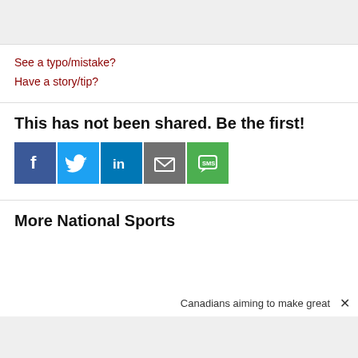See a typo/mistake?
Have a story/tip?
This has not been shared. Be the first!
[Figure (infographic): Social share buttons: Facebook, Twitter, LinkedIn, Email, SMS]
More National Sports
Canadians aiming to make great